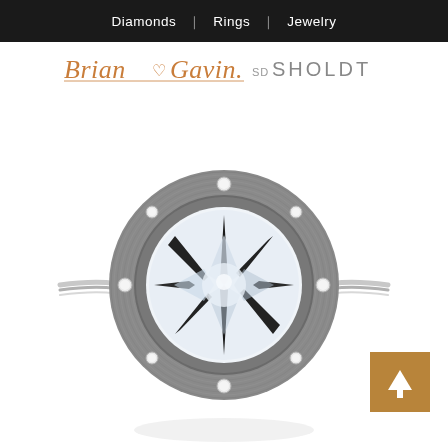Diamonds  |  Rings  |  Jewelry
[Figure (logo): Brian Gavin Diamonds logo in copper/orange script with heart, followed by 'SD SHOLDT' in grey sans-serif]
[Figure (photo): A round brilliant diamond engagement ring with a large bezel-set halo featuring a circular brushed grey metal surround with eight small prong-set diamonds around the bezel edge. The center stone shows a star burst pattern. The band is a delicate wire-style metal shank. A scroll-to-top arrow button appears in the lower right corner against a gold/brown square background.]